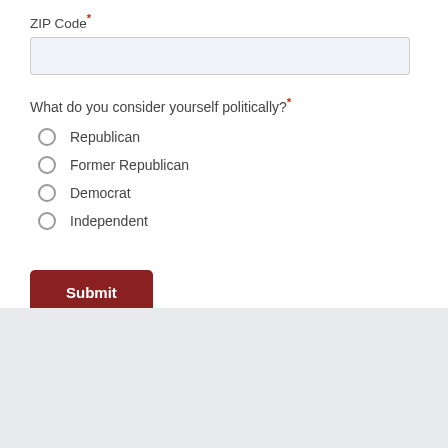ZIP Code*
What do you consider yourself politically?*
Republican
Former Republican
Democrat
Independent
Submit